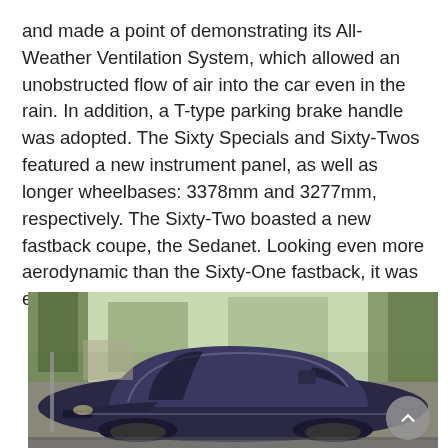and made a point of demonstrating its All-Weather Ventilation System, which allowed an unobstructed flow of air into the car even in the rain. In addition, a T-type parking brake handle was adopted. The Sixty Specials and Sixty-Twos featured a new instrument panel, as well as longer wheelbases: 3378mm and 3277mm, respectively. The Sixty-Two boasted a new fastback coupe, the Sedanet. Looking even more aerodynamic than the Sixty-One fastback, it was easily identified by its longer rear side windows.
[Figure (photo): A vintage dark blue Cadillac Sixty-Two Sedanet fastback coupe photographed outdoors in a wooded/parkland setting. The car's distinctive rounded roofline and long rear side windows are visible. Trees and foliage are visible in the background.]